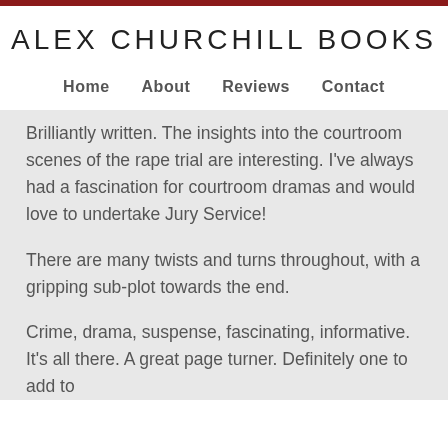ALEX CHURCHILL BOOKS
Home   About   Reviews   Contact
Brilliantly written. The insights into the courtroom scenes of the rape trial are interesting. I've always had a fascination for courtroom dramas and would love to undertake Jury Service!
There are many twists and turns throughout, with a gripping sub-plot towards the end.
Crime, drama, suspense, fascinating, informative. It's all there. A great page turner. Definitely one to add to